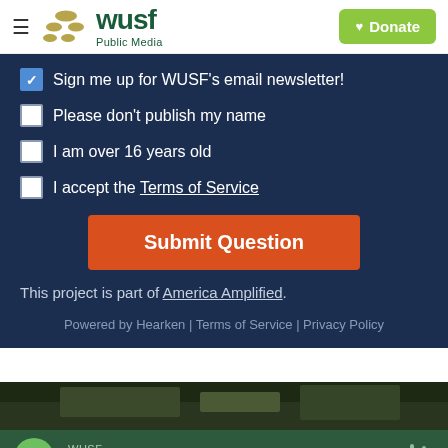WUSF Public Media | Donate
✓ Sign me up for WUSF's email newsletter!
Please don't publish my name
I am over 16 years old
I accept the Terms of Service
Submit Question
This project is part of America Amplified.
Powered by Hearken | Terms of Service | Privacy Policy
[Figure (screenshot): Dark green/olive image preview strip at bottom of page]
WUSF All Night Jazz — audio player bar